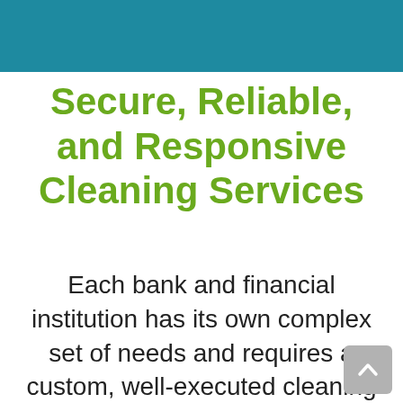Secure, Reliable, and Responsive Cleaning Services
Each bank and financial institution has its own complex set of needs and requires a custom, well-executed cleaning solution. Maintaining a clean, sanitary environment is a non-